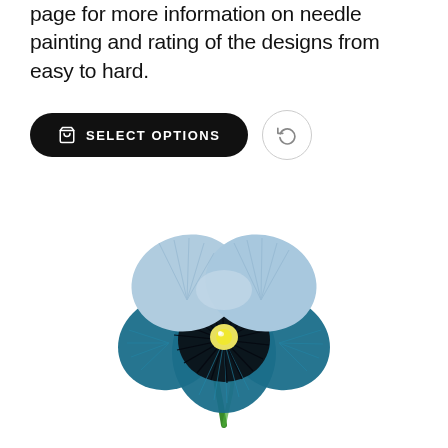page for more information on needle painting and rating of the designs from easy to hard.
[Figure (illustration): A blue pansy flower with needle-painting embroidery style, showing light blue upper petals, deep teal and black lower petals with radiating stitch lines, a yellow center, and a green stem. White background.]